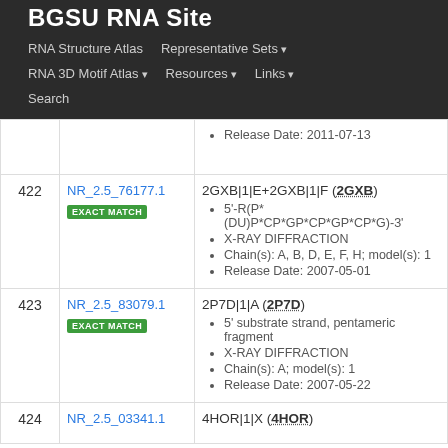BGSU RNA Site
RNA Structure Atlas | Representative Sets | RNA 3D Motif Atlas | Resources | Links | Search
| # | ID | Details |
| --- | --- | --- |
|  |  | Release Date: 2011-07-13 |
| 422 | NR_2.5_76177.1
EXACT MATCH | 2GXB|1|E+2GXB|1|F (2GXB)
• 5'-R(P*(DU)P*CP*GP*CP*GP*CP*G)-3'
• X-RAY DIFFRACTION
• Chain(s): A, B, D, E, F, H; model(s): 1
• Release Date: 2007-05-01 |
| 423 | NR_2.5_83079.1
EXACT MATCH | 2P7D|1|A (2P7D)
• 5' substrate strand, pentameric fragment
• X-RAY DIFFRACTION
• Chain(s): A; model(s): 1
• Release Date: 2007-05-22 |
| 424 | NR_2.5_03341.1 | 4HOR|1|X (4HOR) |